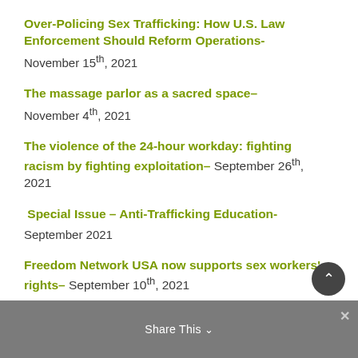Over-Policing Sex Trafficking: How U.S. Law Enforcement Should Reform Operations- November 15th, 2021
The massage parlor as a sacred space– November 4th, 2021
The violence of the 24-hour workday: fighting racism by fighting exploitation– September 26th, 2021
Special Issue – Anti-Trafficking Education- September 2021
Freedom Network USA now supports sex workers' rights– September 10th, 2021
Share This